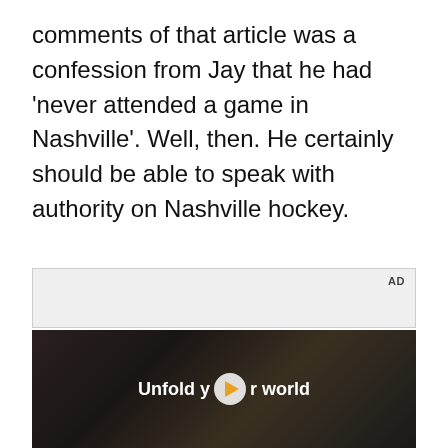comments of that article was a confession from Jay that he had 'never attended a game in Nashville'. Well, then. He certainly should be able to speak with authority on Nashville hockey.
[Figure (screenshot): Advertisement area with 'AD' label and a video player showing a Samsung Galaxy Z Fold advertisement with text 'Unfold your world' and a play button overlay. A person holds a foldable phone in a car interior.]